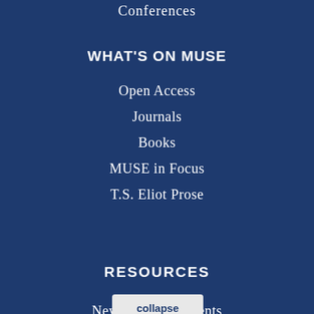Conferences
WHAT'S ON MUSE
Open Access
Journals
Books
MUSE in Focus
T.S. Eliot Prose
RESOURCES
News... ...ments
collapse
You are not currently authenticated. If you would like to authenticate using a different subscribed institution or
This website uses cookies to ensure you get the best experience on our website. Without cookies your experience may not be seamless.
Accept